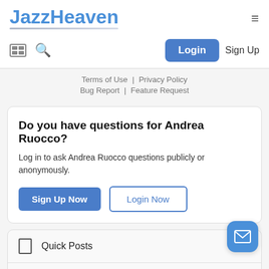JazzHeaven
[Figure (screenshot): Navigation toolbar with grid icon, search icon, Login button, and Sign Up text]
Terms of Use | Privacy Policy
Bug Report | Feature Request
Do you have questions for Andrea Ruocco?
Log in to ask Andrea Ruocco questions publicly or anonymously.
Sign Up Now   Login Now
Quick Posts
Questions
[Figure (illustration): Blue floating action button with mail/envelope icon]